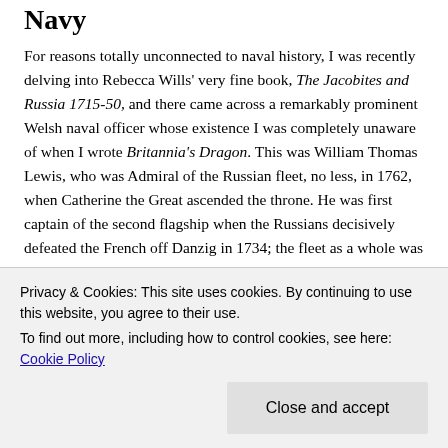Navy
For reasons totally unconnected to naval history, I was recently delving into Rebecca Wills’ very fine book, The Jacobites and Russia 1715-50, and there came across a remarkably prominent Welsh naval officer whose existence I was completely unaware of when I wrote Britannia’s Dragon. This was William Thomas Lewis, who was Admiral of the Russian fleet, no less, in 1762, when Catherine the Great ascended the throne. He was first captain of the second flagship when the Russians decisively defeated the French off Danzig in 1734; the fleet as a whole was commanded by the Scot Admiral Thomas Gordon, as this was a period when the
Privacy & Cookies: This site uses cookies. By continuing to use this website, you agree to their use.
To find out more, including how to control cookies, see here: Cookie Policy
Lewis was a Welshman, politics unknown, who was rear-airean